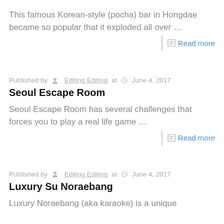This famous Korean-style (pocha) bar in Hongdae became so popular that it exploded all over …
Read more
Published by Editing Editing at June 4, 2017
Seoul Escape Room
Seoul Escape Room has several challenges that forces you to play a real life game …
Read more
Published by Editing Editing at June 4, 2017
Luxury Su Noraebang
Luxury Noraebang (aka karaoke) is a unique